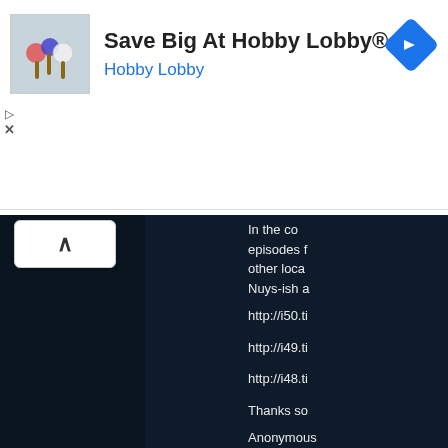[Figure (screenshot): Advertisement banner for Hobby Lobby with product thumbnail image, text 'Save Big At Hobby Lobby®' and 'Hobby Lobby', and a blue diamond navigation icon on the right. Play and close controls on the left.]
In the co episodes f other loca Nuys-ish a
http://i50.ti
http://i49.ti
http://i48.ti
Thanks so
Anonymous
The Off series,"Wo freeway. T right/Left.